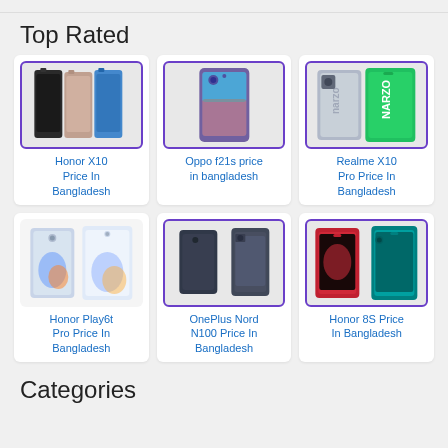Top Rated
[Figure (other): Honor X10 phone product image - multiple color variants shown side by side]
Honor X10 Price In Bangladesh
[Figure (other): Oppo f21s phone product image - purple colorway]
Oppo f21s price in bangladesh
[Figure (other): Realme X10 Pro phone product image - two phones back and front showing narzo branding]
Realme X10 Pro Price In Bangladesh
[Figure (other): Honor Play6t Pro phone product image - two phones shown]
Honor Play6t Pro Price In Bangladesh
[Figure (other): OnePlus Nord N100 phone product image - dark colorway]
OnePlus Nord N100 Price In Bangladesh
[Figure (other): Honor 8S phone product image - teal colorway]
Honor 8S Price In Bangladesh
Categories